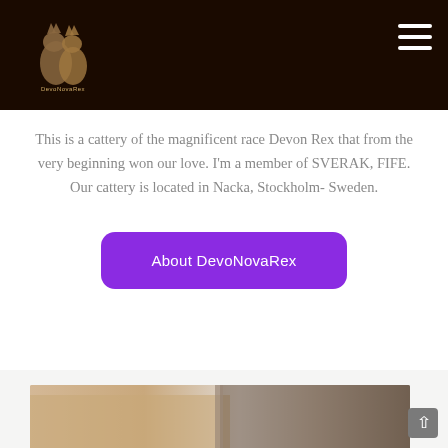[Figure (logo): Devon Rex cat cattery logo — two cats silhouette on dark brown background header]
This is a cattery of the magnificent race Devon Rex that from the very beginning won our love. I'm a member of SVERAK, FIFE. Our cattery is located in Nacka, Stockholm- Sweden.
About DevoNovaRex
[Figure (photo): Bottom section showing partial view of cats or cattery interior on light beige background]